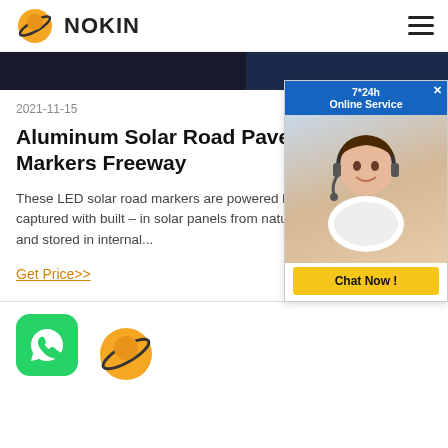NOKIN
[Figure (photo): Dark banner image strip showing nighttime road scene split into two sections]
2021-11-15
Aluminum Solar Road Pavement Markers Freeway
These LED solar road markers are powered by solar captured with built – in solar panels from natural sunlight and stored in internal...
Get Price>>
[Figure (photo): Online chat service advertisement popup showing a woman with headset and Chat Now button]
[Figure (logo): WhatsApp icon - green rounded square with phone handset symbol]
[Figure (logo): NOKIN company logo - orange planet with ring]